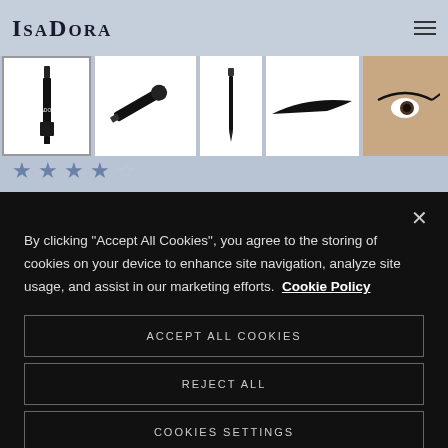[Figure (screenshot): IsaDora website header with logo and hamburger menu icon on a blue-grey background]
[Figure (photo): Product image strip showing five eyeliner product views: pen bottle, pen with cap off, slim pen, drawn line, and eye with eyeliner applied]
[Figure (other): 4 out of 5 filled blue stars rating]
By clicking “Accept All Cookies”, you agree to the storing of cookies on your device to enhance site navigation, analyze site usage, and assist in our marketing efforts.  Cookie Policy
ACCEPT ALL COOKIES
REJECT ALL
COOKIES SETTINGS